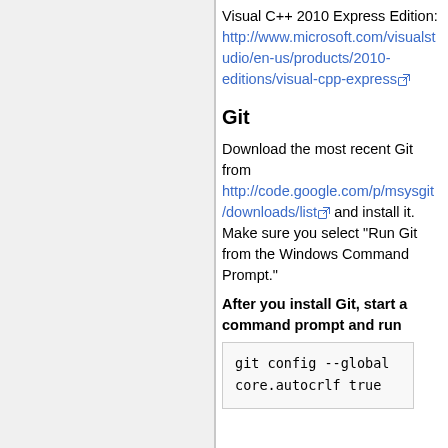Visual C++ 2010 Express Edition: http://www.microsoft.com/visualstudio/en-us/products/2010-editions/visual-cpp-express
Git
Download the most recent Git from http://code.google.com/p/msysgit/downloads/list and install it. Make sure you select "Run Git from the Windows Command Prompt."
After you install Git, start a command prompt and run
git config --global
core.autocrlf true